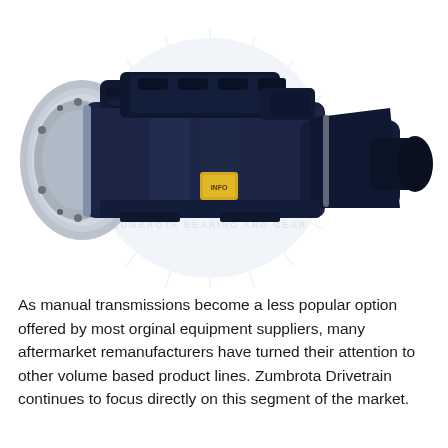[Figure (photo): Photo of a remanufactured manual transmission unit (dark blue/black housing with silver bell housing) with a Zumbrota Bearing and Gear watermark logo in the background]
As manual transmissions become a less popular option offered by most orginal equipment suppliers, many aftermarket remanufacturers have turned their attention to other volume based product lines. Zumbrota Drivetrain continues to focus directly on this segment of the market.